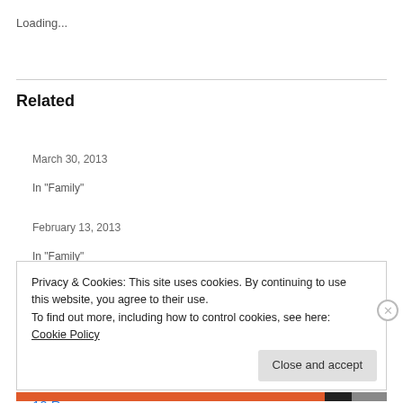Loading...
Related
Why Do Our Children Do This To Us?
March 30, 2013
In "Family"
10 Reasons To Give Up Newborn Hell
February 13, 2013
In "Family"
Privacy & Cookies: This site uses cookies. By continuing to use this website, you agree to their use.
To find out more, including how to control cookies, see here: Cookie Policy
Close and accept